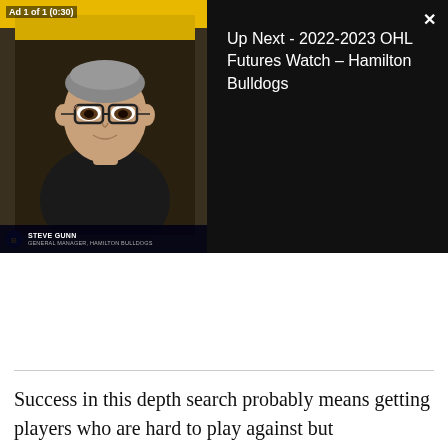[Figure (screenshot): Video player screenshot showing a man with glasses in front of a Hamilton Bulldogs backdrop on the left panel, and 'Up Next - 2022-2023 OHL Futures Watch – Hamilton Bulldogs' text on a black right panel. Ad 1 of 1 (0:30) label visible top-left. X close button top-right.]
Success in this depth search probably means getting players who are hard to play against but